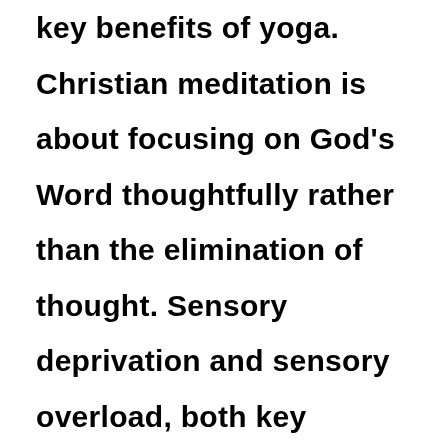key benefits of yoga. Christian meditation is about focusing on God's Word thoughtfully rather than the elimination of thought. Sensory deprivation and sensory overload, both key aspects of advanced yoga, are proven techniques for the 'killing of the mind'. Yoga does not require